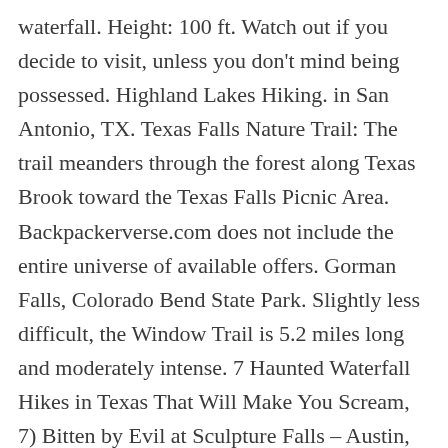waterfall. Height: 100 ft. Watch out if you decide to visit, unless you don't mind being possessed. Highland Lakes Hiking. in San Antonio, TX. Texas Falls Nature Trail: The trail meanders through the forest along Texas Brook toward the Texas Falls Picnic Area. Backpackerverse.com does not include the entire universe of available offers. Gorman Falls, Colorado Bend State Park. Slightly less difficult, the Window Trail is 5.2 miles long and moderately intense. 7 Haunted Waterfall Hikes in Texas That Will Make You Scream, 7) Bitten by Evil at Sculpture Falls – Austin, TX, 6) Evil Ushers to Hell at Hamilton Pool Preserve – Dripping Springs, TX, 5) Animal Possessions at Pedernales Falls State Park – Johnson City, TX, 4) The Demoness at Krause Springs – Spicewood, TX, 3) Creepy Octopus Man at Brushy Creek Regional Trail – Cedar